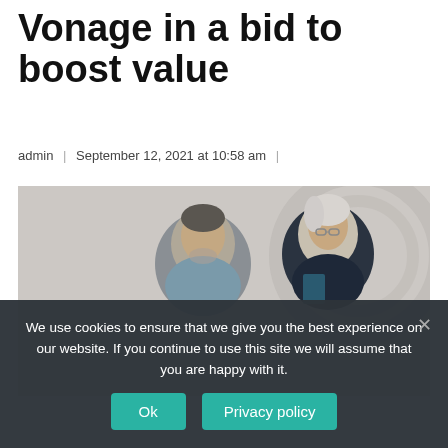Vonage in a bid to boost value
admin | September 12, 2021 at 10:58 am |
[Figure (photo): Two business professionals, a middle-aged man and an older woman with glasses, looking down at something together in an office or public space setting.]
We use cookies to ensure that we give you the best experience on our website. If you continue to use this site we will assume that you are happy with it.